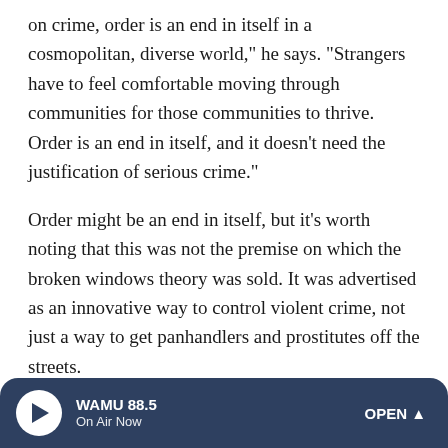on crime, order is an end in itself in a cosmopolitan, diverse world," he says. "Strangers have to feel comfortable moving through communities for those communities to thrive. Order is an end in itself, and it doesn't need the justification of serious crime."
Order might be an end in itself, but it's worth noting that this was not the premise on which the broken windows theory was sold. It was advertised as an innovative way to control violent crime, not just a way to get panhandlers and prostitutes off the streets.
‘Broken Windows’ Morphs Into ‘Stop And Frisk’
WAMU 88.5 | On Air Now | OPEN